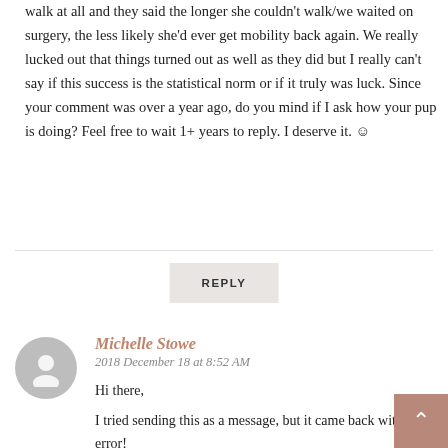walk at all and they said the longer she couldn't walk/we waited on surgery, the less likely she'd ever get mobility back again. We really lucked out that things turned out as well as they did but I really can't say if this success is the statistical norm or if it truly was luck. Since your comment was over a year ago, do you mind if I ask how your pup is doing? Feel free to wait 1+ years to reply. I deserve it. ☺
REPLY
Michelle Stowe
2018 December 18 at 8:52 AM
Hi there,
I tried sending this as a message, but it came back with an error!
I just read your post about Dylan and I feel so emotional.